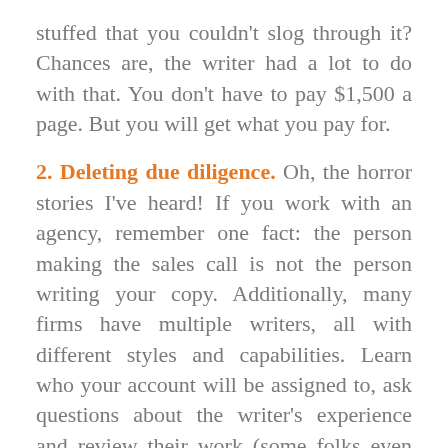stuffed that you couldn't slog through it? Chances are, the writer had a lot to do with that. You don't have to pay $1,500 a page. But you will get what you pay for.
2. Deleting due diligence. Oh, the horror stories I've heard! If you work with an agency, remember one fact: the person making the sales call is not the person writing your copy. Additionally, many firms have multiple writers, all with different styles and capabilities. Learn who your account will be assigned to, ask questions about the writer's experience and review their work (some folks even ask to have a quick conference call with the writer.) If the writer's style doesn't resonate with you — or if you have any